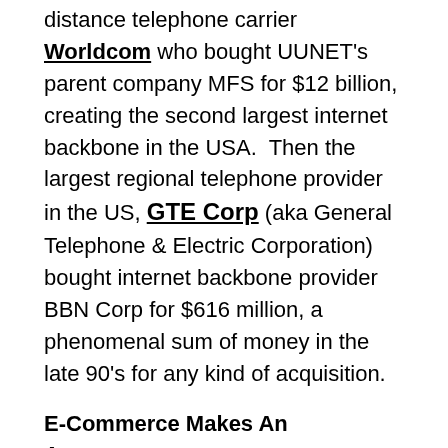distance telephone carrier Worldcom who bought UUNET's parent company MFS for $12 billion, creating the second largest internet backbone in the USA.  Then the largest regional telephone provider in the US, GTE Corp (aka General Telephone & Electric Corporation) bought internet backbone provider BBN Corp for $616 million, a phenomenal sum of money in the late 90's for any kind of acquisition.
E-Commerce Makes An Appearance
By the end of the 90's, the e-commerce industry was rapidly growing and businesses were interested in working with ISPs who could